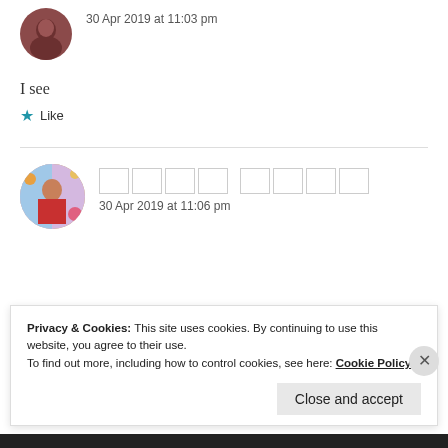[Figure (photo): Circular avatar of a person with dark hair, brownish-red toned photo]
30 Apr 2019 at 11:03 pm
I see
★ Like
[Figure (photo): Circular avatar of a woman in colorful traditional dress with floral background]
[name blocks] 30 Apr 2019 at 11:06 pm
Privacy & Cookies: This site uses cookies. By continuing to use this website, you agree to their use.
To find out more, including how to control cookies, see here: Cookie Policy
Close and accept